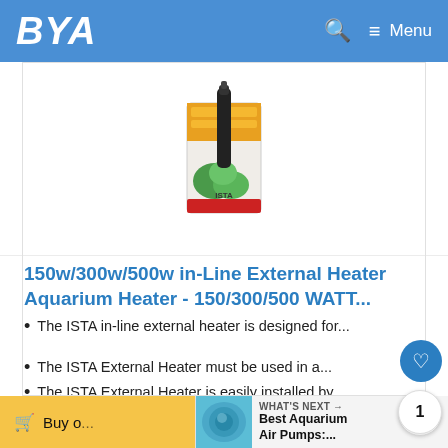BYA  Menu
[Figure (photo): Product photo of ISTA in-line external aquarium heater with packaging box and plant decoration]
150w/300w/500w in-Line External Heater Aquarium Heater - 150/300/500 WATT...
The ISTA in-line external heater is designed for...
The ISTA External Heater must be used in a...
The ISTA External Heater is easily installed by...
$68.99  ✓Pri...
Buy o...   WHAT'S NEXT → Best Aquarium Air Pumps:...